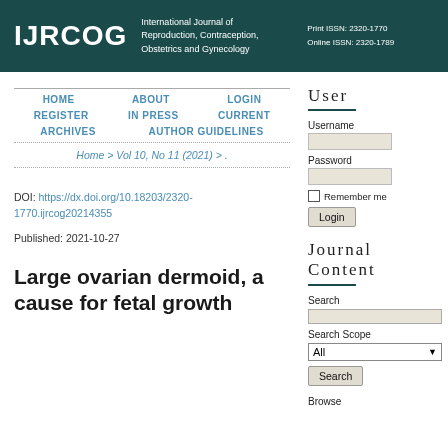IJRCOG International Journal of Reproduction, Contraception, Obstetrics and Gynecology Print ISSN: 2320-1770 Online ISSN: 2320-1789
HOME
ABOUT
LOGIN
REGISTER
IN PRESS
CURRENT
ARCHIVES
AUTHOR GUIDELINES
Home > Vol 10, No 11 (2021) > .
DOI: https://dx.doi.org/10.18203/2320-1770.ijrcog20214355
Published: 2021-10-27
Large ovarian dermoid, a cause for fetal growth